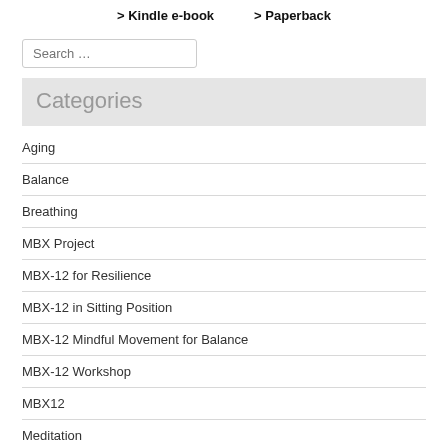> Kindle e-book    > Paperback
Search …
Categories
Aging
Balance
Breathing
MBX Project
MBX-12 for Resilience
MBX-12 in Sitting Position
MBX-12 Mindful Movement for Balance
MBX-12 Workshop
MBX12
Meditation
Mindful Movement